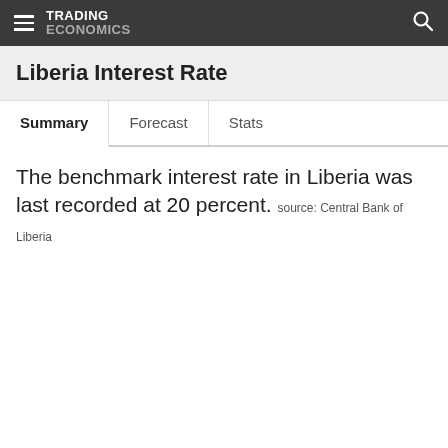TRADING ECONOMICS
Liberia Interest Rate
Summary   Forecast   Stats
The benchmark interest rate in Liberia was last recorded at 20 percent. source: Central Bank of Liberia